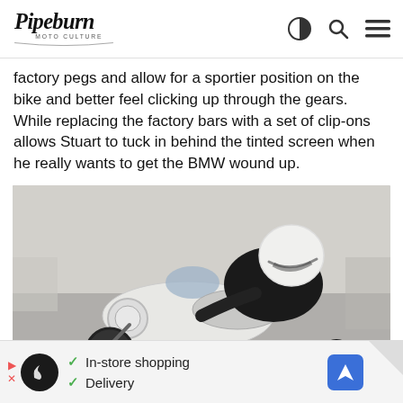Pipeburn Moto Culture — navigation header with logo, theme toggle, search, and menu icons
factory pegs and allow for a sportier position on the bike and better feel clicking up through the gears. While replacing the factory bars with a set of clip-ons allows Stuart to tuck in behind the tinted screen when he really wants to get the BMW wound up.
[Figure (photo): A rider in a black leather jacket and white full-face helmet crouched low over a white cafe racer motorcycle with a prominent round headlight fairing, photographed in motion on a road.]
In-store shopping  Delivery  (advertisement banner)